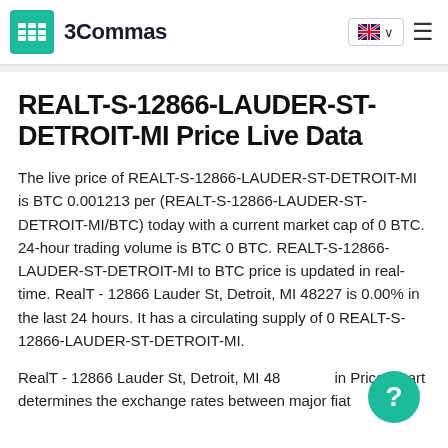3Commas
REALT-S-12866-LAUDER-ST-DETROIT-MI Price Live Data
The live price of REALT-S-12866-LAUDER-ST-DETROIT-MI is BTC 0.001213 per (REALT-S-12866-LAUDER-ST-DETROIT-MI/BTC) today with a current market cap of 0 BTC. 24-hour trading volume is BTC 0 BTC. REALT-S-12866-LAUDER-ST-DETROIT-MI to BTC price is updated in real-time. RealT - 12866 Lauder St, Detroit, MI 48227 is 0.00% in the last 24 hours. It has a circulating supply of 0 REALT-S-12866-LAUDER-ST-DETROIT-MI.
RealT - 12866 Lauder St, Detroit, MI 48227 coin Price Chart determines the exchange rates between major fiat